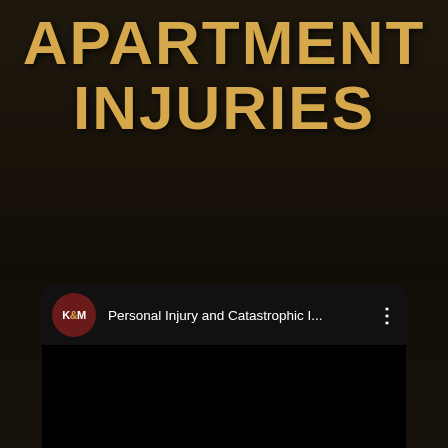APARTMENT INJURIES
[Figure (screenshot): A YouTube video card showing a K&M channel logo (dark red circle with white K&M text) and the video title 'Personal Injury and Catastrophic I...' with a three-dot menu icon, on a black background. The video thumbnail area is entirely black.]